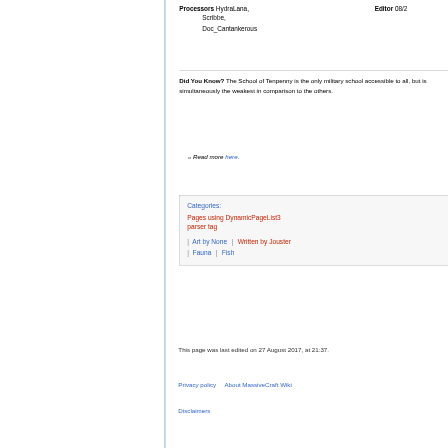Processors HydraLana, Scribbe, Doc_Cantankerous
Editor 08/2
Did You Know? The School of Tenpenny is the only military school accessible to all, but is simultaneously the weakest in comparison to the others.
» Read more here.
Categories:
Pages using DynamicPageList3 parser tag
Art by None | Written by Jouster
Fauna | Fish
This page was last edited on 27 August 2017, at 21:37.
Privacy policy   About MassiveCraft Wiki
Disclaimers